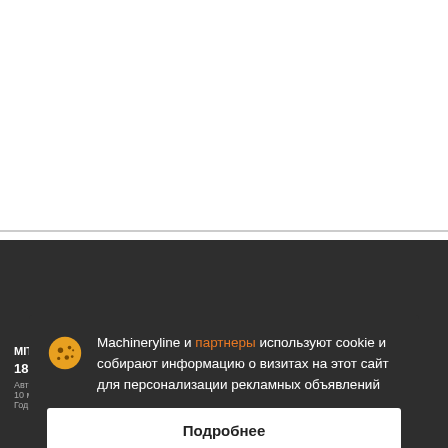[Figure (screenshot): White top area of a web page with product listing cards below a horizontal divider. Three white card thumbnails are visible in a row.]
MITSUBISHI Derkar 100
18 070 €
Автовышка, Модель: Derkar, Высота подъема: 10 м, Год: 1992, Пробег: 112 000 км
Machineryline и партнеры используют cookie и собирают информацию о визитах на этот сайт для персонализации рекламных объявлений
Подробнее
Согласиться и закрыть